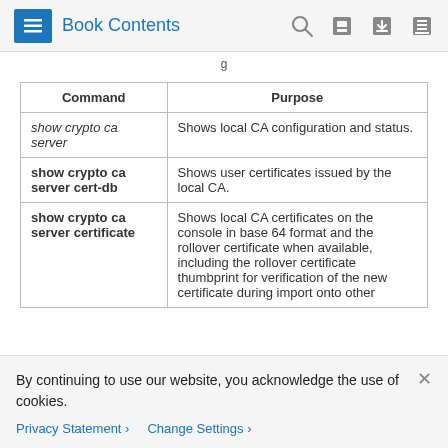Book Contents
| Command | Purpose |
| --- | --- |
| show crypto ca server | Shows local CA configuration and status. |
| show crypto ca server cert-db | Shows user certificates issued by the local CA. |
| show crypto ca server certificate | Shows local CA certificates on the console in base 64 format and the rollover certificate when available, including the rollover certificate thumbprint for verification of the new certificate during import onto other |
By continuing to use our website, you acknowledge the use of cookies.
Privacy Statement > Change Settings >